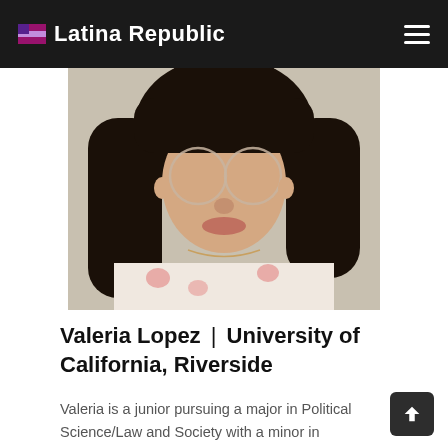Latina Republic
[Figure (photo): Profile photo of Valeria Lopez, a young woman with long dark hair and round glasses, wearing a floral top, selfie-style photo.]
Valeria Lopez | University of California, Riverside
Valeria is a junior pursuing a major in Political Science/Law and Society with a minor in